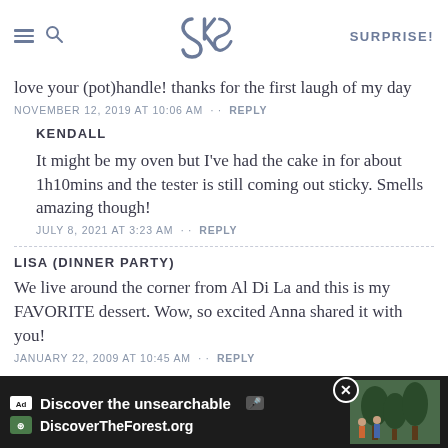SK | SURPRISE!
love your (pot)handle! thanks for the first laugh of my day
NOVEMBER 12, 2019 AT 10:06 AM · · REPLY
KENDALL
It might be my oven but I've had the cake in for about 1h10mins and the tester is still coming out sticky. Smells amazing though!
JULY 8, 2021 AT 3:23 AM · · REPLY
LISA (DINNER PARTY)
We live around the corner from Al Di La and this is my FAVORITE dessert. Wow, so excited Anna shared it with you!
JANUARY 22, 2009 AT 10:45 AM · · REPLY
[Figure (screenshot): Advertisement banner for DiscoverTheForest.org with text 'Discover the unsearchable']